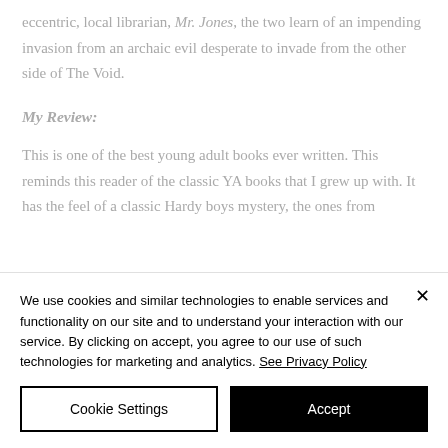eccentric, local librarian, Mr. Jones, the two learn of an impending invasion from an archaic evil desperate to invade from the other side of The Void.
My Review:
This is one of the best young adult books ever written. This reminds this reader of the classic YA books that I grew up with. It has the feel of a classic Hardy boys mystery, the ones from
We use cookies and similar technologies to enable services and functionality on our site and to understand your interaction with our service. By clicking on accept, you agree to our use of such technologies for marketing and analytics. See Privacy Policy